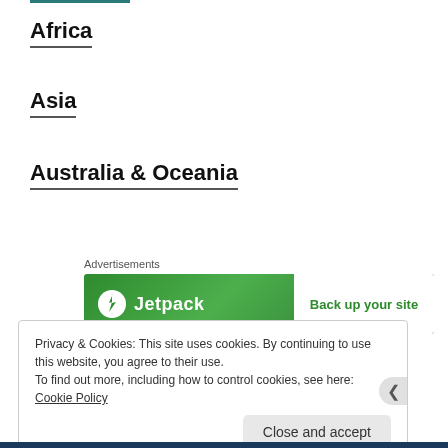Africa
Asia
Australia & Oceania
[Figure (other): Jetpack advertisement banner with green gradient background. Left side shows Jetpack logo (lightning bolt icon in white circle) with white text 'Jetpack'. Right side has white panel with green text 'Back up your site'.]
Antarctica
Privacy & Cookies: This site uses cookies. By continuing to use this website, you agree to their use.
To find out more, including how to control cookies, see here: Cookie Policy
Close and accept